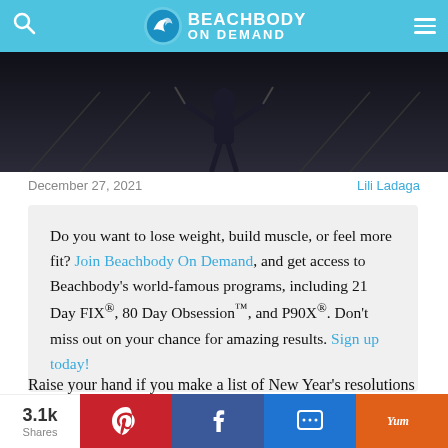Beachbody On Demand
[Figure (photo): Dark silhouette of a person exercising with resistance bands on stairs, dark moody background]
December 27, 2021
Lili Ladaga
Do you want to lose weight, build muscle, or feel more fit? Join Beachbody On Demand, and get access to Beachbody's world-famous programs, including 21 Day FIX®, 80 Day Obsession™, and P90X®. Don't miss out on your chance for amazing results. Sign up today!
Raise your hand if you make a list of New Year's resolutions to accomplish every year. (Go, you!)
3.1k Shares